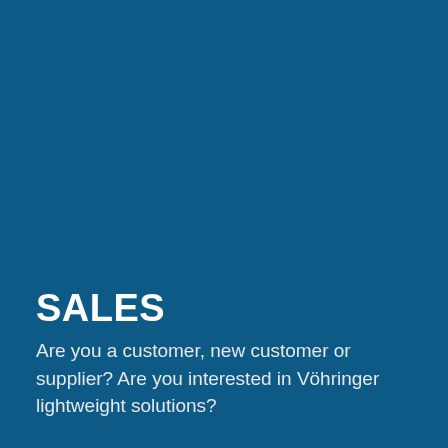SALES
Are you a customer, new customer or supplier? Are you interested in Vöhringer lightweight solutions?